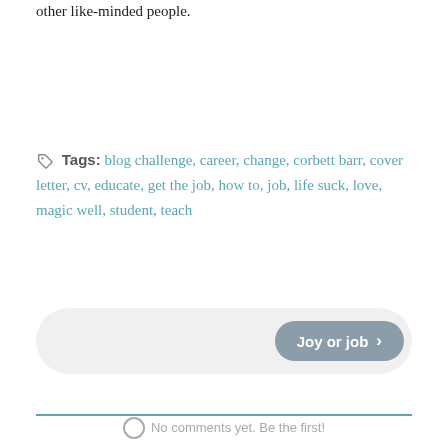other like-minded people.
Tags: blog challenge, career, change, corbett barr, cover letter, cv, educate, get the job, how to, job, life suck, love, magic well, student, teach
[Figure (other): Navigation button reading 'Joy or job >' on a light grey pill-shaped background]
No comments yet. Be the first!